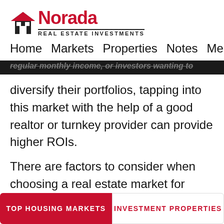[Figure (logo): Norada Real Estate Investments logo with house icon]
Home  Markets  Properties  Notes  Members
regular monthly income, or investors wanting to diversify their portfolios, tapping into this market with the help of a good realtor or turnkey provider can provide higher ROIs.
There are factors to consider when choosing a real estate market for single family rental property
TOP HOUSING MARKETS
INVESTMENT PROPERTIES